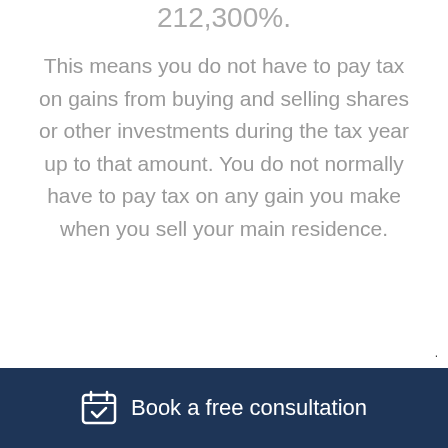212,300%.
This means you do not have to pay tax on gains from buying and selling shares or other investments during the tax year up to that amount. You do not normally have to pay tax on any gain you make when you sell your main residence.
Book a free consultation